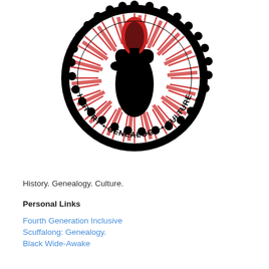[Figure (logo): Circular badge logo with scalloped black border. Inside the circle: a raised black fist holding a torch/flame at top, with red radiating lines (sunburst) behind it. Along the bottom arc of the circle in bold black text: 'HISTORY • GENEALOGY • CULTURE'. The outer ring has additional text at the top (partially cropped).]
Lisa Y. Henderson
History. Genealogy. Culture.
Personal Links
Fourth Generation Inclusive
Scuffalong: Genealogy.
Black Wide-Awake